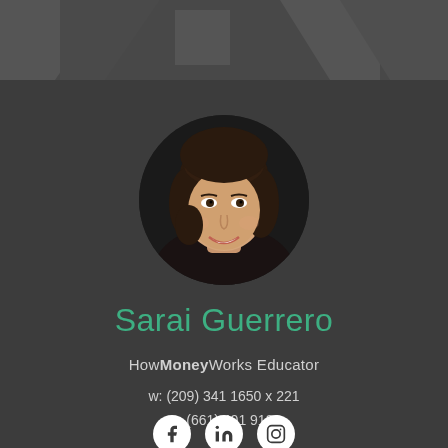[Figure (photo): Circular profile photo of Sarai Guerrero, a smiling woman with dark hair, on a dark gray background with decorative geometric shapes at top]
Sarai Guerrero
HowMoneyWorks Educator
w: (209) 341 1650 x 221
m: (661) 401 9181
[Figure (illustration): Three white social media icons on circular white backgrounds: Facebook, LinkedIn, Instagram]